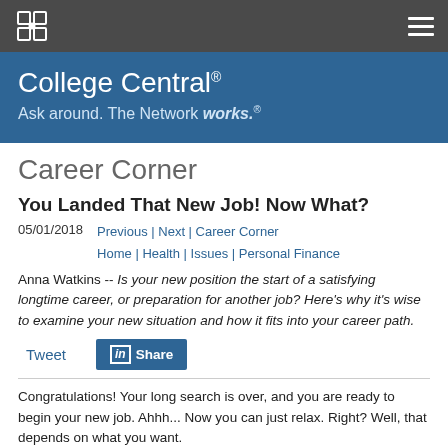College Central® — navigation bar with logo and menu
College Central® — Ask around. The Network works.®
Career Corner
You Landed That New Job! Now What?
05/01/2018   Previous | Next | Career Corner Home | Health | Issues | Personal Finance
Anna Watkins -- Is your new position the start of a satisfying longtime career, or preparation for another job? Here's why it's wise to examine your new situation and how it fits into your career path.
Tweet   [in] Share
Congratulations! Your long search is over, and you are ready to begin your new job. Ahhh... Now you can just relax. Right? Well, that depends on what you want.